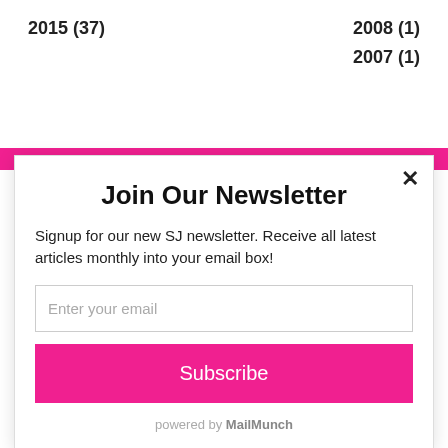2015 (37)
2008 (1)
2007 (1)
Join Our Newsletter
Signup for our new SJ newsletter. Receive all latest articles monthly into your email box!
Enter your email
Subscribe
powered by MailMunch